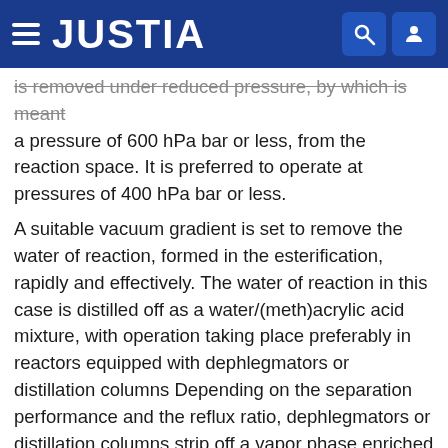JUSTIA
is removed under reduced pressure, by which is meant a pressure of 600 hPa bar or less, from the reaction space. It is preferred to operate at pressures of 400 hPa bar or less.
A suitable vacuum gradient is set to remove the water of reaction, formed in the esterification, rapidly and effectively. The water of reaction in this case is distilled off as a water/(meth)acrylic acid mixture, with operation taking place preferably in reactors equipped with dephlegmators or distillation columns Depending on the separation performance and the reflux ratio, dephlegmators or distillation columns strip off a vapor phase enriched in the lower-boiling water, while the liquid reflux is enriched in the higher-boiling (meth)acrylic acid. In this way, the evaporation losses of (meth)acrylic acid that occur in each case are minimized, and the use of raw materials is optimized.